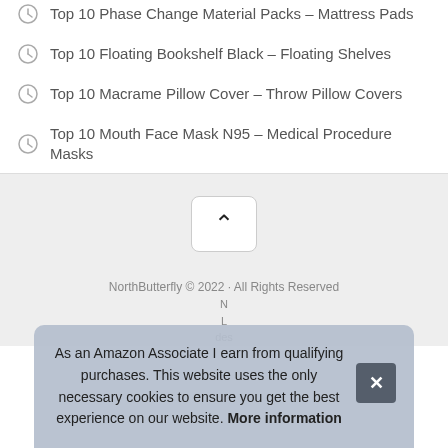Top 10 Beadspreads Twin Size Clearance – Quilt Sets
Top 10 Phase Change Material Packs – Mattress Pads
Top 10 Floating Bookshelf Black – Floating Shelves
Top 10 Macrame Pillow Cover – Throw Pillow Covers
Top 10 Mouth Face Mask N95 – Medical Procedure Masks
[Figure (other): Back to top button with upward chevron arrow]
NorthButterfly © 2022 · All Rights Reserved
As an Amazon Associate I earn from qualifying purchases. This website uses the only necessary cookies to ensure you get the best experience on our website. More information